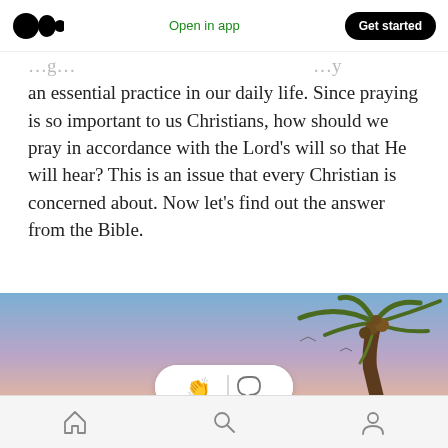Medium app header — logo, Open in app, Get started
an essential practice in our daily life. Since praying is so important to us Christians, how should we pray in accordance with the Lord's will so that He will hear? This is an issue that every Christian is concerned about. Now let's find out the answer from the Bible.
[Figure (photo): Tropical beach sunset scene with a palm tree on the right and a gradient sky from blue to pink/orange. A white pill-shaped floating action bar with clapping hands and comment bubble icons is overlaid in the center of the image.]
Bottom navigation bar with home, search, and profile icons